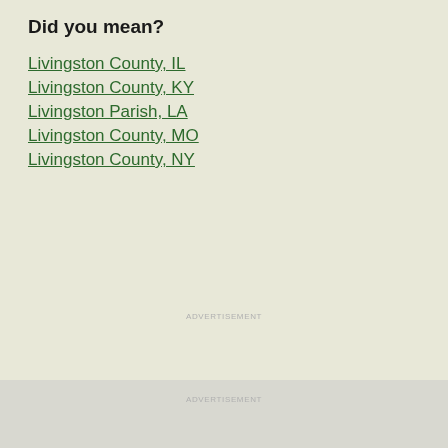Did you mean?
Livingston County, IL
Livingston County, KY
Livingston Parish, LA
Livingston County, MO
Livingston County, NY
ADVERTISEMENT
ADVERTISEMENT